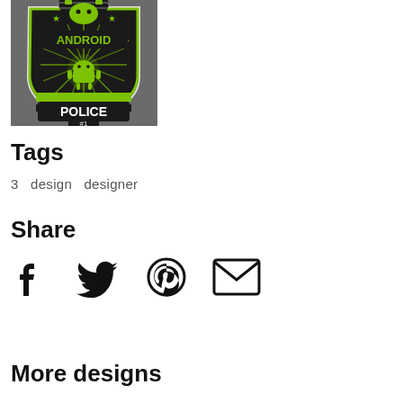[Figure (logo): Android Police badge logo - a shield-shaped police badge with 'ANDROID POLICE #1' text, green and black color scheme with Android robot mascot]
Tags
3  design  designer
Share
[Figure (infographic): Social share icons: Facebook, Twitter, Pinterest, Email]
More designs